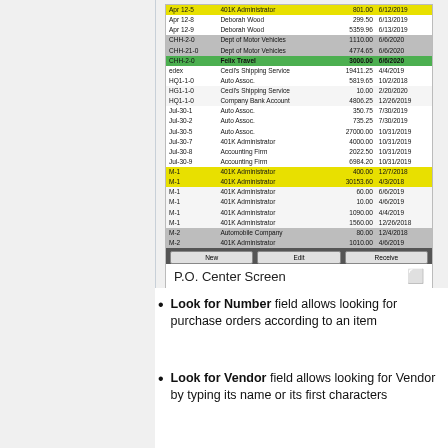[Figure (screenshot): P.O. Center Screen showing a table of purchase orders with columns for ID, Vendor, Amount, and Date. Rows include entries for Apr 12-8 Deborah Wood 299.50 6/13/2019, Apr 12-9 Deborah Wood 5359.96 6/13/2019, CHH-2-0 Dept of Motor Vehicles 1110.00 6/6/2020, CHH-21-0 Dept of Motor Vehicles 4774.65 6/6/2020, CHH-2-0 Felix Travel 3000.00 6/6/2020 (highlighted green), edex Cecil's Shipping Service 19411.25 4/4/2019, HQ1-1-0 Auto Assoc. 5819.65 10/2/2018, HG1-1-0 Cecil's Shipping Service 10.00 2/20/2020, HQ1-1-0 Company Bank Account 4806.25 12/26/2019, Jul-30-1 Auto Assoc. 350.75 7/30/2019, Jul-30-2 Auto Assoc. 735.25 7/30/2019, Jul-30-5 Auto Assoc. 27000.00 10/31/2019, Jul-30-7 401K Administrator 4000.00 10/31/2019, Jul-30-8 Accounting Firm 2022.50 10/31/2019, Jul-30-9 Accounting Firm 6984.20 10/31/2019, M-1 401K Administrator 400.00 12/7/2018 (yellow), M-1 401K Administrator 30153.60 4/3/2018 (yellow), M-1 401K Administrator 60.00 6/6/2019, M-1 401K Administrator 10.00 4/6/2019, M-1 401K Administrator 1090.00 4/4/2019, M-1 401K Administrator 1560.00 12/26/2018, M-2 Automobile Company 80.00 12/4/2018, M-2 401K Administrator 1010.00 4/6/2019. Buttons: New, Edit, Receive.]
P.O. Center Screen
Look for Number field allows looking for purchase orders according to an item
Look for Vendor field allows looking for Vendor by typing its name or its first characters